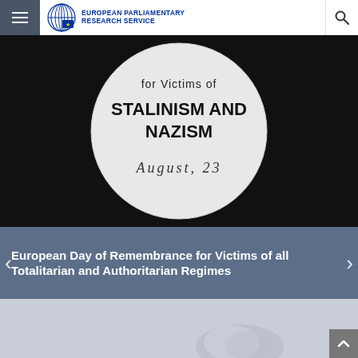European Parliamentary Research Service
[Figure (photo): A white circular badge/button on a dark background with text 'for Victims of STALINISM AND NAZISM August, 23']
European Day of Remembrance for Victims of all Totalitarian and Authoritarian Regimes
[Figure (photo): Partial view of a white sculptural or fabric object on a light grey background]